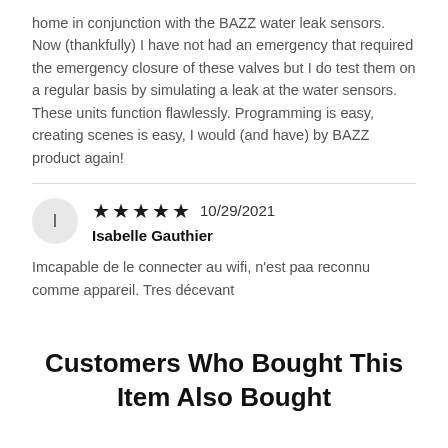home in conjunction with the BAZZ water leak sensors. Now (thankfully) I have not had an emergency that required the emergency closure of these valves but I do test them on a regular basis by simulating a leak at the water sensors. These units function flawlessly. Programming is easy, creating scenes is easy, I would (and have) by BAZZ product again!
★★★★★ 10/29/2021
Isabelle Gauthier
Imcapable de le connecter au wifi, n'est paa reconnu comme appareil. Tres décevant
Customers Who Bought This Item Also Bought